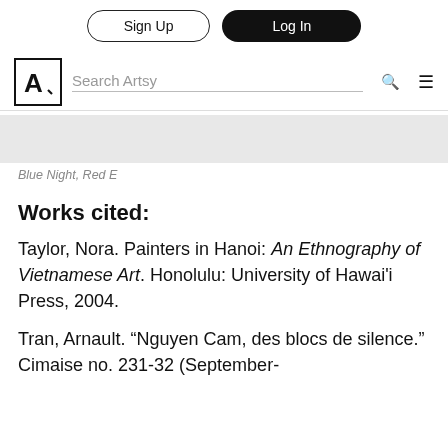Sign Up | Log In
[Figure (screenshot): Artsy website navigation bar with logo, search field, search icon, and menu icon]
[Figure (photo): Gray image area (artwork image partially shown)]
Blue Night, Red E
Works cited:
Taylor, Nora. Painters in Hanoi: An Ethnography of Vietnamese Art. Honolulu: University of Hawai'i Press, 2004.
Tran, Arnault. “Nguyen Cam, des blocs de silence.” Cimaise no. 231-32 (September-